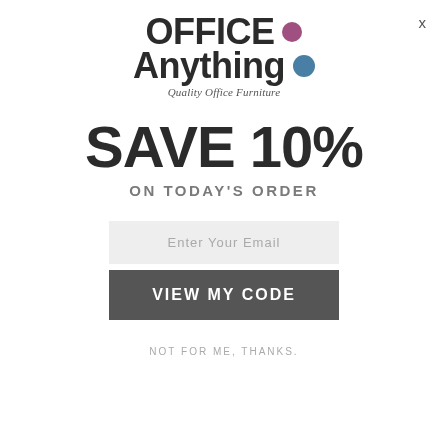[Figure (logo): Office Anything logo with purple and blue dots and tagline 'Quality Office Furniture']
SAVE 10%
ON TODAY'S ORDER
Enter Your Email
VIEW MY CODE
NOT FOR ME, THANKS.